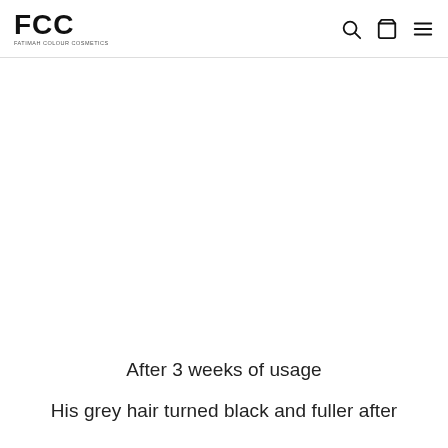FCC — Fatimah Colour Cosmetics
[Figure (photo): Large white/blank image area below navigation header, showing a product usage result photo (mostly white/empty in this cropped view)]
After 3 weeks of usage
His grey hair turned black and fuller after